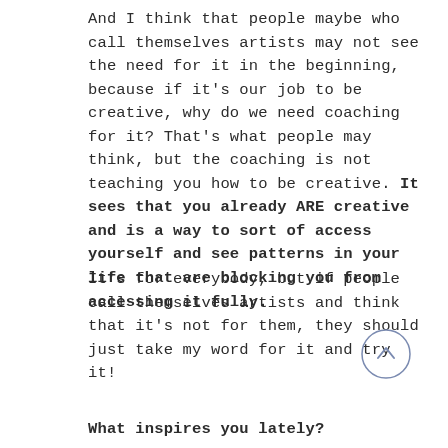And I think that people maybe who call themselves artists may not see the need for it in the beginning, because if it's our job to be creative, why do we need coaching for it? That's what people may think, but the coaching is not teaching you how to be creative. It sees that you already ARE creative and is a way to sort of access yourself and see patterns in your life that are blocking you from accessing it fully.
It's for everybody, but if people call themselves artists and think that it's not for them, they should just take my word for it and try it!
What inspires you lately?